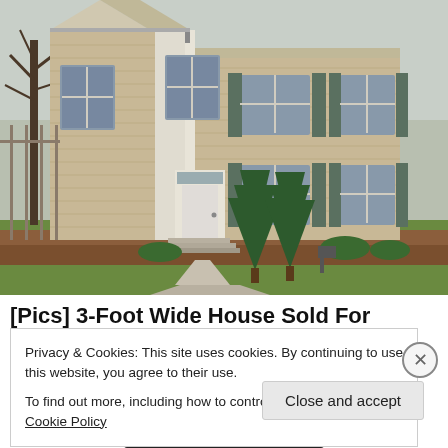[Figure (photo): Exterior photo of a two-story beige/tan vinyl-sided house with blue shutters, white front door, evergreen shrubs, green lawn, and bare trees in early spring.]
[Pics] 3-Foot Wide House Sold For $260K, Take
Privacy & Cookies: This site uses cookies. By continuing to use this website, you agree to their use.
To find out more, including how to control cookies, see here: Cookie Policy
Close and accept